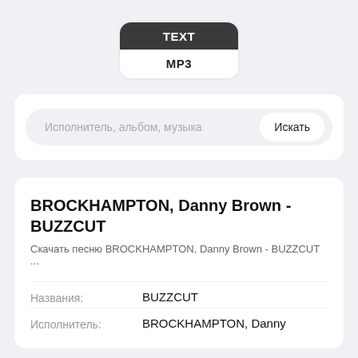[Figure (screenshot): Tab selector with TEXT (active/dark) and MP3 (inactive/white) tabs]
Исполнитель, альбом, музыка   Искать
BROCKHAMPTON, Danny Brown - BUZZCUT
Скачать песню BROCKHAMPTON, Danny Brown - BUZZCUT ...
Названия:   BUZZCUT
Исполнитель:   BROCKHAMPTON, Danny